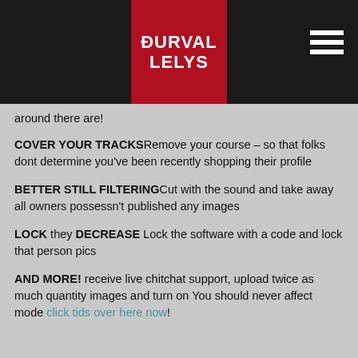DURVAL LELYS
around there are!
COVER YOUR TRACKSRemove your course – so that folks dont determine you've been recently shopping their profile
BETTER STILL FILTERINGCut with the sound and take away all owners possessn't published any images
LOCK they DECREASE Lock the software with a code and lock that person pics
AND MORE! receive live chitchat support, upload twice as much quantity images and turn on You should never affect mode click tids over here now!